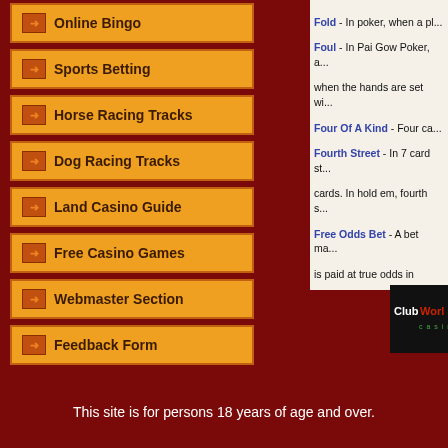Online Bingo
Sports Betting
Horse Racing Tracks
Dog Racing Tracks
Land Casino Guide
Free Casino Games
Webmaster Section
Feedback Form
Fold - In poker, when a pl... Foul - In Pai Gow Poker, a... when the hands are set wi... Four Of A Kind - Four ca... Fourth Street - In 7 card st... cards. In hold em, fourth s... Free Odds Bet - A bet ma... is paid at true odds in Crap... Front Line - A casino term... Front Money - Cash or ba... that money. Full House - In poker, a ha... Full Pay - In video poker i... Fuzzy - Odds of 15 to 1 o...
[Figure (logo): ClubWorld Casino logo - dark background with ClubWorld text in white and red, casino written below in green letters]
This site is for persons 18 years of age and over.